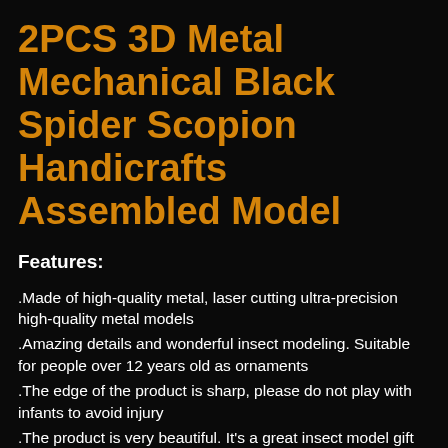2PCS 3D Metal Mechanical Black Spider Scopion Handicrafts Assembled Model
Features:
.Made of high-quality metal, laser cutting ultra-precision high-quality metal models
.Amazing details and wonderful insect modeling. Suitable for people over 12 years old as ornaments
.The edge of the product is sharp, please do not play with infants to avoid injury
.The product is very beautiful. It's a great insect model gift
.It is very suitable for insect lovers, as a special gift for